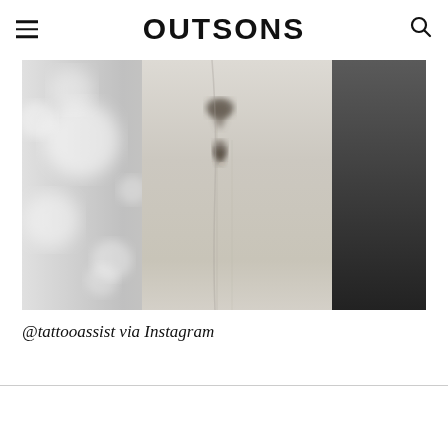OUTSONS
[Figure (photo): Black and white close-up photograph of a person's side/ribcage area showing a small tattoo, with bokeh light circles on the left and a dark fabric on the right]
@tattooassist via Instagram